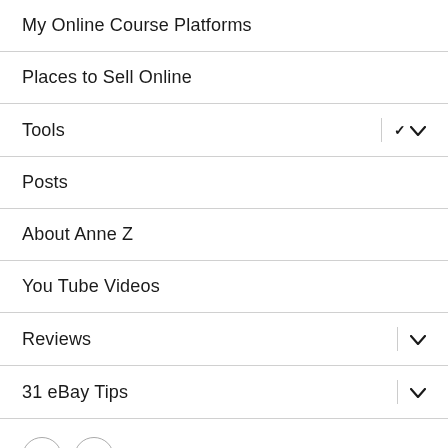My Online Course Platforms
Places to Sell Online
Tools
Posts
About Anne Z
You Tube Videos
Reviews
31 eBay Tips
[Figure (illustration): Two circular icon buttons with a share/link symbol inside each]